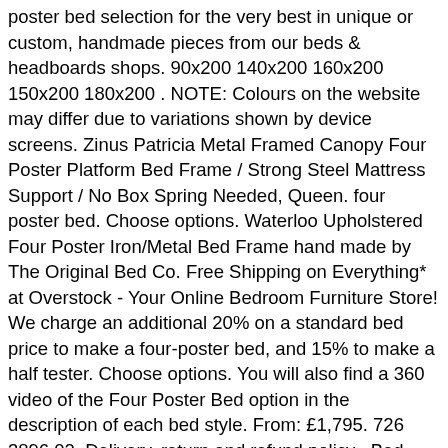poster bed selection for the very best in unique or custom, handmade pieces from our beds & headboards shops. 90x200 140x200 160x200 150x200 180x200 . NOTE: Colours on the website may differ due to variations shown by device screens. Zinus Patricia Metal Framed Canopy Four Poster Platform Bed Frame / Strong Steel Mattress Support / No Box Spring Needed, Queen. four poster bed. Choose options. Waterloo Upholstered Four Poster Iron/Metal Bed Frame hand made by The Original Bed Co. Free Shipping on Everything* at Overstock - Your Online Bedroom Furniture Store! We charge an additional 20% on a standard bed price to make a four-poster bed, and 15% to make a half tester. Choose options. You will also find a 360 video of the Four Poster Bed option in the description of each bed style. From: £1,795. 726 3896 02, Delivery, return and refund policy   Bed Sizes, We use cookies to track usage and preferences, Waterloo Wrought Iron/Metal Four Poster Bed in Satin Black with Fabric Upholstered Panel, Waterloo Wrought Iron/Metal Four Poster Bed in Glossy Ivory with Fabric Upholstered Panel, Waterloo Wrought Iron/Metal Four Poster Bed in Satin White with Fabric Upholstered Panel,